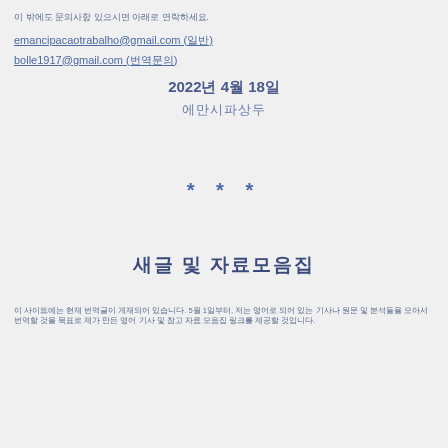이 밖에도 문의사항 있으시면 아래로 연락하세요.
emancipacaotrabalho@gmail.com (일반)
bolle1917@gmail.com (번역문의)
2022년 4월 18일
에만시파상두
* * *
새글 및 자료모음집
이 사이트에는 현재 번역글이 게재되어 있습니다. 5월 1일부터, 저는 영어로 되어 있는 기사나 원문 및 분석들을 모아서 번역할 것을 목표로 제가 만든 영어 기사 및 참고 자료 모음집 링크를 제공할 것입니다.